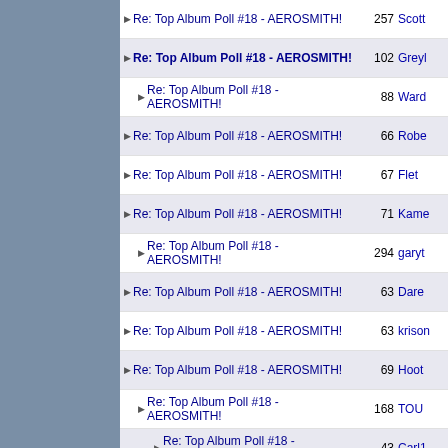Re: Top Album Poll #18 - AEROSMITH! | 257 | Scott
Re: Top Album Poll #18 - AEROSMITH! | 102 | Greyl
Re: Top Album Poll #18 - AEROSMITH! | 88 | Ward
Re: Top Album Poll #18 - AEROSMITH! | 66 | Robe
Re: Top Album Poll #18 - AEROSMITH! | 67 | Flet
Re: Top Album Poll #18 - AEROSMITH! | 71 | Kame
Re: Top Album Poll #18 - AEROSMITH! | 294 | garyt
Re: Top Album Poll #18 - AEROSMITH! | 63 | Dare
Re: Top Album Poll #18 - AEROSMITH! | 63 | krison
Re: Top Album Poll #18 - AEROSMITH! | 69 | Hoot
Re: Top Album Poll #18 - AEROSMITH! | 168 | TOU
Re: Top Album Poll #18 - AEROSMITH! | 43 | Carl1
Re: Top Album Poll #18 - AEROSMITH! | 46 | Terry
Re: Top Album Poll #18 - AEROSMITH! | 82 | TOU
Re: Top Album Poll #18 - AEROSMITH! | 35 | garyt
Re: Top Album Poll #18 - AEROSMITH! | 33 | Terry
Re: Top Album Poll #18 - AEROSMITH! | 30 | Carl1
Re: Top Album Poll #18 - AEROSMITH! | 51 | ROC
Re: Top Album Poll #18 - AEROSMITH! | 44 | Melo